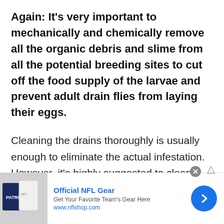Again: It's very important to mechanically and chemically remove all the organic debris and slime from all the potential breeding sites to cut off the food supply of the larvae and prevent adult drain flies from laying their eggs.
Cleaning the drains thoroughly is usually enough to eliminate the actual infestation. However, it's highly suggested to clean them at regular intervals to prevent future re-infestation.
[Figure (other): Advertisement banner for Official NFL Gear from nflshop.com showing NFL jerseys, ad title, subtitle 'Get Your Favorite Team's Gear Here', URL, and a blue arrow button]